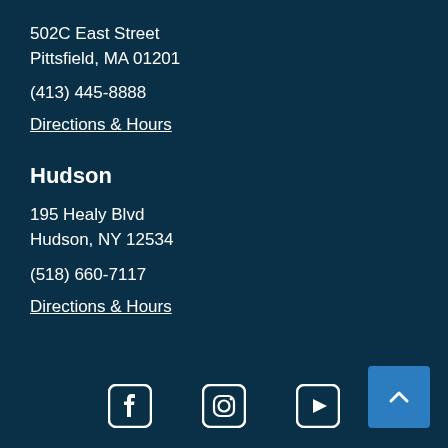502C East Street
Pittsfield, MA 01201
(413) 445-8888
Directions & Hours
Hudson
195 Healy Blvd
Hudson, NY 12534
(518) 660-7117
Directions & Hours
[Figure (infographic): Social media icons: Facebook, Instagram, YouTube]